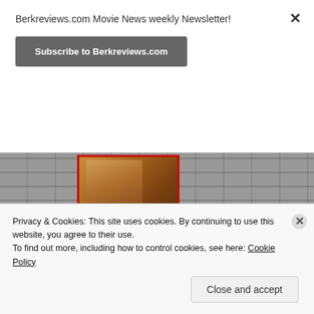Berkreviews.com Movie News weekly Newsletter!
Subscribe to Berkreviews.com
[Figure (photo): Movie DVD cover displayed against a brick wall background]
Share this:
Twitter
Facebook
More
Privacy & Cookies: This site uses cookies. By continuing to use this website, you agree to their use.
To find out more, including how to control cookies, see here: Cookie Policy
Close and accept